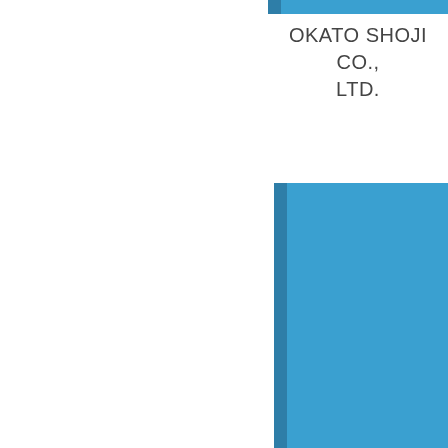[Figure (other): Horizontal blue bar at the top of the page, spanning most of the width with a narrow darker blue accent strip on the left side]
OKATO SHOJI CO., LTD.
[Figure (other): Large vertical blue rectangle in the lower half of the page with a narrow darker blue accent strip on the left side, representing a bar in a bar chart]